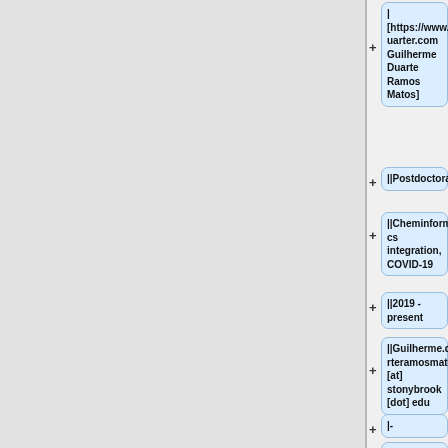| [https://www.gduarter.com Guilherme Duarte Ramos Matos]
||Postdoctoral
||Cheminformatics integration, COVID-19
||2019 - present
||Guilherme.duarteramosmatos [at] stonybrook [dot] edu
|-
| [http://ringo.am